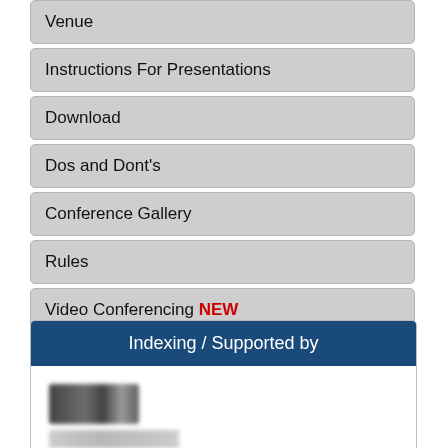Venue
Instructions For Presentations
Download
Dos and Dont's
Conference Gallery
Rules
Video Conferencing NEW
Collaboration
Contact Us
Indexing / Supported by
[Figure (logo): Blurred/redacted logo image below the Indexing / Supported by header]